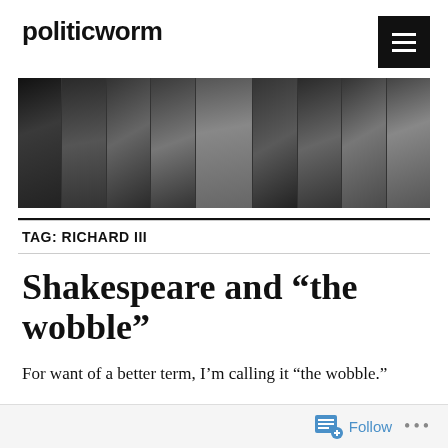politicworm
[Figure (photo): Black and white banner image collage showing multiple faces/portraits of historical figures and actors, including what appears to be Shakespeare in the center, arranged in a row]
TAG: RICHARD III
Shakespeare and “the wobble”
For want of a better term, I’m calling it “the wobble.”
Follow ...